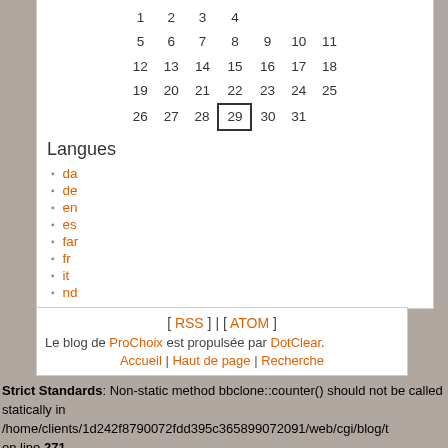[Figure (other): Calendar widget showing dates 1-31 with 1 and 14 in orange, 29 boxed]
Langues
da
de
en
es
far
fr
it
nd
[ RSS ] | [ ATOM ]
Le blog de ProChoix est propulsée par DotClear.
Accueil | Haut de page | Recherche
Strict Standards: Non-static method bbclone::counter() should not be called statically in /home/clients/1d242f8790072fdd395c365899072091/web/cgi/blog/t on line 271

Deprecated: Assigning the return value of new by reference is deprecated in /home/clients/1d242f8790072fdd395c365899072091/web/cgi/blog/t